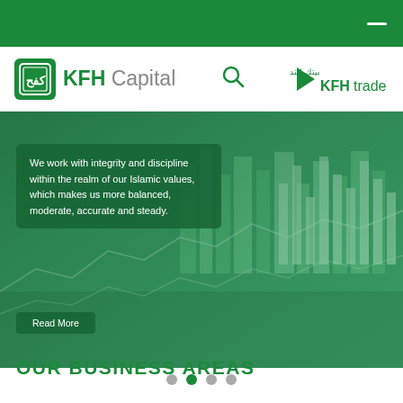[Figure (screenshot): KFH Capital website header with dark green top navigation bar and a white dash icon]
[Figure (logo): KFH Capital logo: green square icon with arabic calligraphy on the left, KFH Capital text in green to the right]
[Figure (logo): KFH trade logo: green triangle/arrow icon, Arabic text and KFHtrade in green]
[Figure (photo): Hero banner: aerial city skyline photo with green tint overlay, financial chart bar/line graphics overlaid, green semi-transparent text box with quote about working with integrity and Islamic values, and a Read More button]
We work with integrity and discipline within the realm of our Islamic values, which makes us more balanced, moderate, accurate and steady.
Read More
[Figure (infographic): Carousel dots: four circles, second is green (active), others are grey]
OUR BUSINESS AREAS